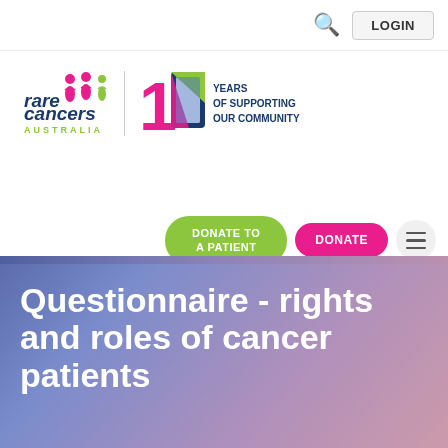LOGIN
[Figure (logo): Rare Cancers Australia logo with stylized people icons, and 10 Years of Supporting Our Community anniversary badge]
[Figure (other): Navigation buttons: DONATE TO A PATIENT (green pill), DONATE (pink pill), hamburger menu (grey circle)]
Questionnaire - rights and roles of cancer patients